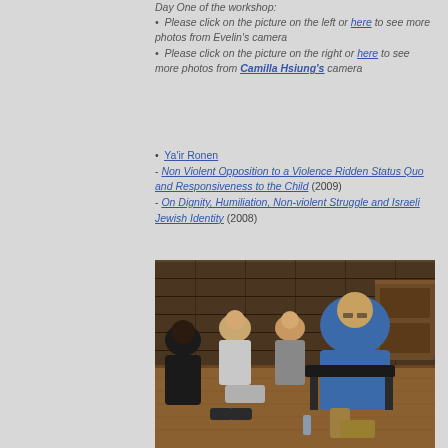Day One of the workshop:
• Please click on the picture on the left or here to see more photos from Evelin's camera
• Please click on the picture on the right or here to see more photos from Camilla Hsiung's camera
Ya'ir Ronen
- Non Violent Opposition to a Violence Ridden Status Quo and Responsiveness to the Child (2009)
- On Dignity, Humiliation, Non-violent Struggle and Israeli Jewish Identity (2008)
[Figure (photo): Group of people seated in chairs during a workshop or panel discussion, in a wood-paneled room. A man in a blue shirt is prominently seated on the right, others are seated to the left.]